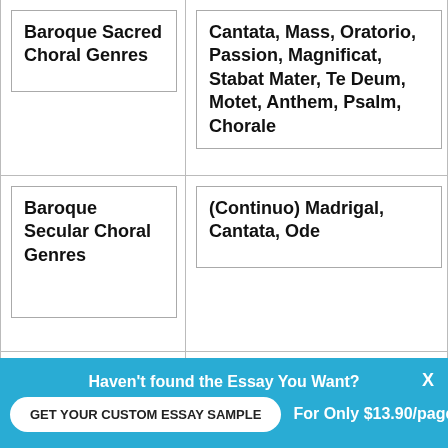| Term | Definition |
| --- | --- |
| Baroque Sacred Choral Genres | Cantata, Mass, Oratorio, Passion, Magnificat, Stabat Mater, Te Deum, Motet, Anthem, Psalm, Chorale |
| Baroque Secular Choral Genres | (Continuo) Madrigal, Cantata, Ode |
| Baroque Double Dotting/Over Dotting | When a dotted note followed by complimentary shorter note is seen, it is common to lengthen the |
Haven't found the Essay You Want?
GET YOUR CUSTOM ESSAY SAMPLE
For Only $13.90/page